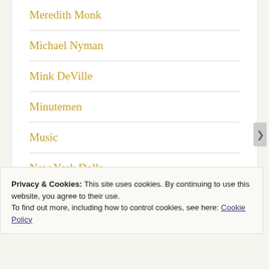Meredith Monk
Michael Nyman
Mink DeVille
Minutemen
Music
New York Dolls
Patti Smith
Privacy & Cookies: This site uses cookies. By continuing to use this website, you agree to their use.
To find out more, including how to control cookies, see here: Cookie Policy
Close and accept